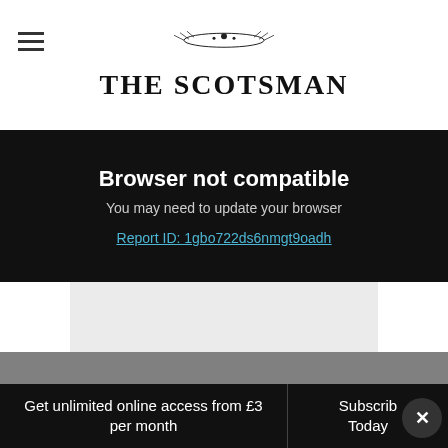THE SCOTSMAN
Browser not compatible
You may need to update your browser
Report ID: 1gbo722ds6nmgt9oadh
Although the content from this site is available...
Get unlimited online access from £3 per month   Subscribe Today